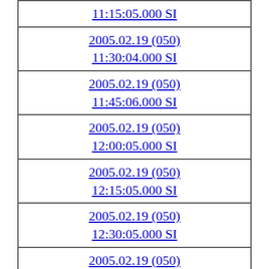| 11:15:05.000 SI |
| 2005.02.19 (050)
11:30:04.000 SI |
| 2005.02.19 (050)
11:45:06.000 SI |
| 2005.02.19 (050)
12:00:05.000 SI |
| 2005.02.19 (050)
12:15:05.000 SI |
| 2005.02.19 (050)
12:30:05.000 SI |
| 2005.02.19 (050)
12:45:05.000 SI |
| 2005.02.19 (050)
13:00:05.000 SI |
| 2005.02.19 (050)
13:15:05.000 SI |